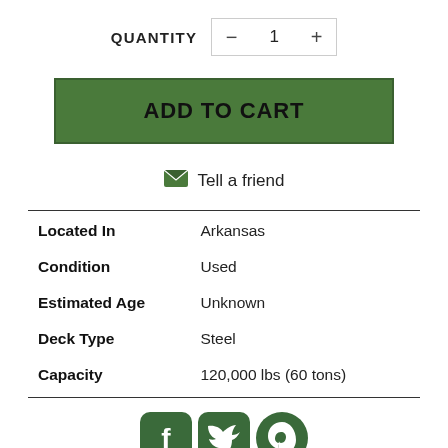QUANTITY — 1 +
ADD TO CART
✉ Tell a friend
| Located In | Arkansas |
| Condition | Used |
| Estimated Age | Unknown |
| Deck Type | Steel |
| Capacity | 120,000 lbs (60 tons) |
[Figure (illustration): Social media icons: Facebook, Twitter, Pinterest]
PRODUCT DESCRIPTION